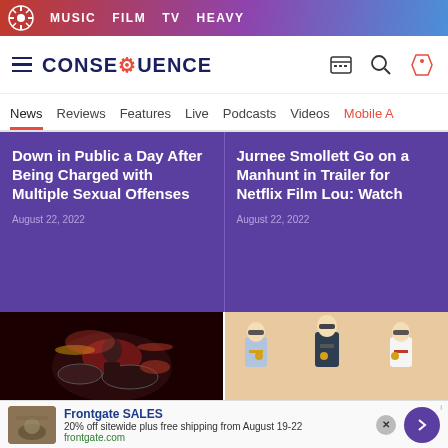MUSIC  FILM  TV  HEAVY
[Figure (logo): Consequence of Sound logo with navigation icons]
News  Reviews  Features  Live  Podcasts  Videos  Mobile A
Down in Public a Day After Being Charged with Multiple Sexual Offenses
August 22, 2022
Jurnee Smollett Go on a Manhunt in Trailer for Netflix Film Lou: Watch
August 22, 2022
[Figure (photo): Drummer playing red drum kit on dark stage]
[Figure (photo): Three action figures wearing suits and sunglasses]
Frontgate SALES
20% off sitewide plus free shipping from August 19-22
frontgate.com